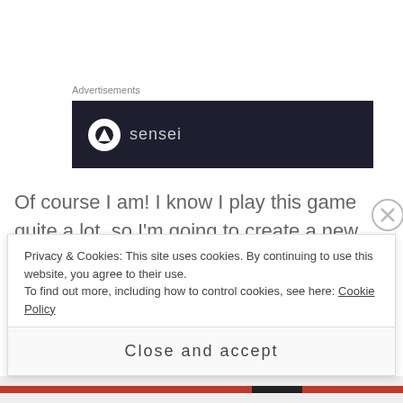Advertisements
[Figure (screenshot): Dark advertisement banner with a circular icon and 'sensei' logo text on dark navy background]
Of course I am! I know I play this game quite a lot, so I'm going to create a new Sim, just for the blog! The initial Sims 4 Play blog series will cover the life of this Sim, as I can't afford to buy capture software to Youtube my play.
Privacy & Cookies: This site uses cookies. By continuing to use this website, you agree to their use. To find out more, including how to control cookies, see here: Cookie Policy
Close and accept